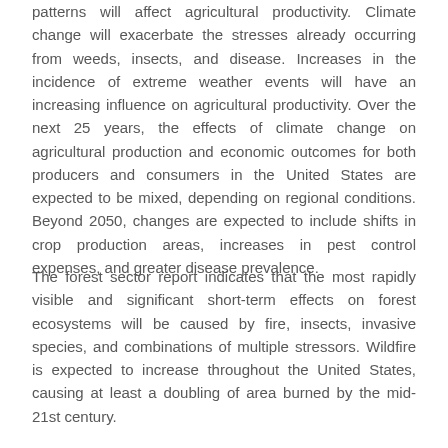patterns will affect agricultural productivity. Climate change will exacerbate the stresses already occurring from weeds, insects, and disease. Increases in the incidence of extreme weather events will have an increasing influence on agricultural productivity. Over the next 25 years, the effects of climate change on agricultural production and economic outcomes for both producers and consumers in the United States are expected to be mixed, depending on regional conditions. Beyond 2050, changes are expected to include shifts in crop production areas, increases in pest control expenses, and greater disease prevalence.
The forest sector report indicates that the most rapidly visible and significant short-term effects on forest ecosystems will be caused by fire, insects, invasive species, and combinations of multiple stressors. Wildfire is expected to increase throughout the United States, causing at least a doubling of area burned by the mid-21st century.